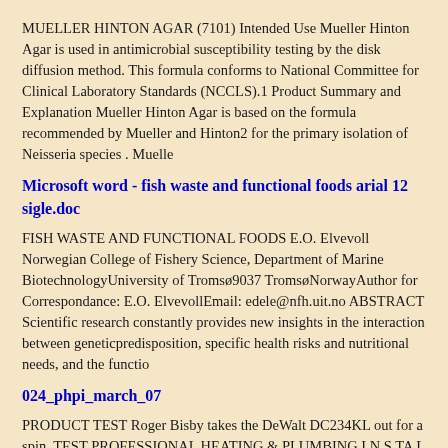MUELLER HINTON AGAR (7101) Intended Use Mueller Hinton Agar is used in antimicrobial susceptibility testing by the disk diffusion method. This formula conforms to National Committee for Clinical Laboratory Standards (NCCLS).1 Product Summary and Explanation Mueller Hinton Agar is based on the formula recommended by Mueller and Hinton2 for the primary isolation of Neisseria species . Muelle
Microsoft word - fish waste and functional foods arial 12 sigle.doc
FISH WASTE AND FUNCTIONAL FOODS E.O. Elvevoll Norwegian College of Fishery Science, Department of Marine BiotechnologyUniversity of Tromsø9037 TromsøNorwayAuthor for Correspondance: E.O. ElvevollEmail: edele@nfh.uit.no ABSTRACT Scientific research constantly provides new insights in the interaction between geneticpredisposition, specific health risks and nutritional needs, and the functio
024_phpi_march_07
PRODUCT TEST Roger Bisby takes the DeWalt DC234KL out for a spin. TEST PROFESSIONAL HEATING & PLUMBING I N S TA L L E R T he new 36volt Lithium Ion range from DeWalt is said to offer mains power performance from abattery tool.Although it is by no means the firstmanufacturer to offer this technology, DeWaltsays that it held back from introducing Li-Ion becauseit has been w